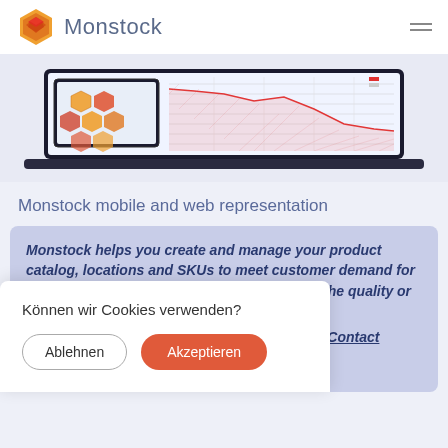Monstock
[Figure (screenshot): Screenshot of Monstock application showing mobile and web interface with dashboard views]
Monstock mobile and web representation
Monstock helps you create and manage your product catalog, locations and SKUs to meet customer demand for a wide range of products without sacrificing the quality or speed of your inventory
Können wir Cookies verwenden?
Ablehnen
Akzeptieren
Want to know more : Contact Monstock